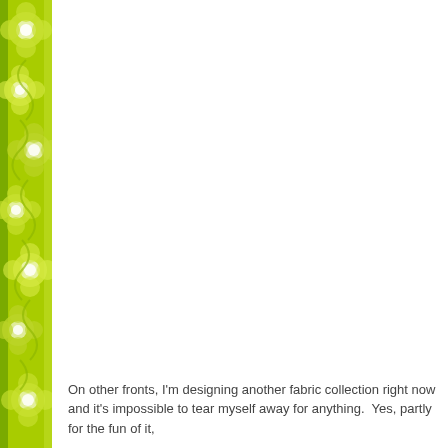[Figure (illustration): Left-side decorative floral border with yellow-green / lime green flowers and swirling patterns on a bright green background, running the full height of the page.]
On other fronts, I'm designing another fabric collection right now and it's impossible to tear myself away for anything.  Yes, partly for the fun of it,